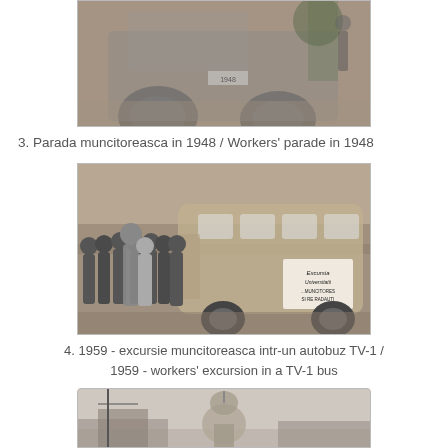[Figure (photo): Black and white historical photo showing old vehicles/trucks, partial view, top portion of image cut off — Parada muncitoreasca in 1948]
3. Parada muncitoreasca in 1948 / Workers' parade in 1948
[Figure (photo): Black and white photo from 1959 showing a group of workers standing in front of a TV-1 bus with a sign reading 'Excursia Universitatii...']
4. 1959 - excursie muncitoreasca intr-un autobuz TV-1 / 1959 - workers' excursion in a TV-1 bus
[Figure (photo): Black and white photo showing a building with a dome/tower, partially visible at the bottom of the page]